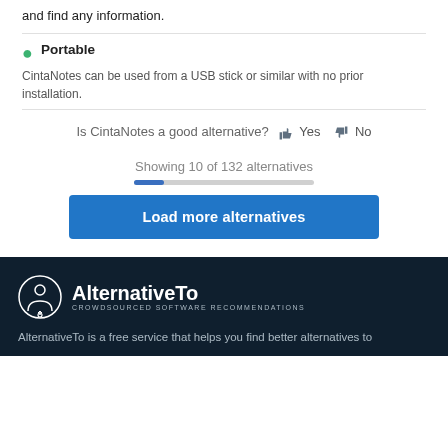and find any information.
Portable
CintaNotes can be used from a USB stick or similar with no prior installation.
Is CintaNotes a good alternative? Yes No
Showing 10 of 132 alternatives
Load more alternatives
[Figure (logo): AlternativeTo logo - circular icon with person figure, white on dark background, with text AlternativeTo and tagline CROWDSOURCED SOFTWARE RECOMMENDATIONS]
AlternativeTo is a free service that helps you find better alternatives to